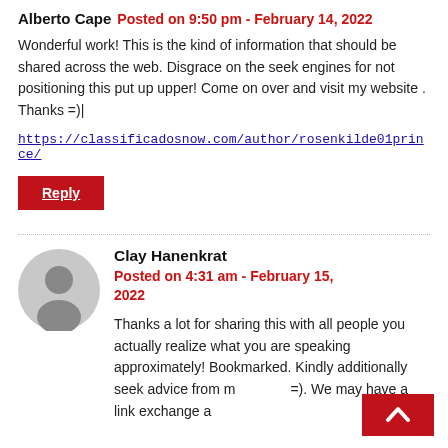Alberto Cape  Posted on 9:50 pm - February 14, 2022
Wonderful work! This is the kind of information that should be shared across the web. Disgrace on the seek engines for not positioning this put up upper! Come on over and visit my website . Thanks =)|
https://classificadosnow.com/author/rosenkilde01prince/
Reply
Clay Hanenkrat
Posted on 4:31 am - February 15, 2022
Thanks a lot for sharing this with all people you actually realize what you are speaking approximately! Bookmarked. Kindly additionally seek advice from m =). We may have a link exchange a